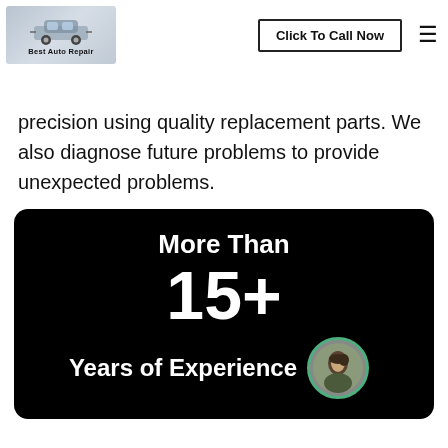[Figure (logo): Best Auto Repair logo with car outline illustration on blue-grey background]
Click To Call Now
precision using quality replacement parts. We also diagnose future problems to provide unexpected problems.
[Figure (infographic): Dark card with text: More Than 15+ Years of Experience, with circular avatar photo in bottom right]